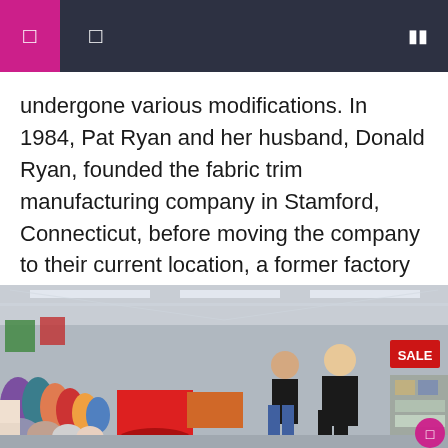navigation header with icons
undergone various modifications. In 1984, Pat Ryan and her husband, Donald Ryan, founded the fabric trim manufacturing company in Stamford, Connecticut, before moving the company to their current location, a former factory at 25 Carrington St. in Lincoln, in 1989. When Donald Ryan retired in 1995, [...]
[Figure (photo): Interior of a fabric store with rolls of fabric in the foreground, shoppers browsing aisles, and a SALE sign visible on the right side. The store has a large warehouse-style ceiling with fluorescent lighting.]